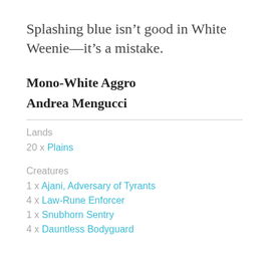Splashing blue isn’t good in White Weenie—it’s a mistake.
Mono-White Aggro
Andrea Mengucci
Lands
20 x Plains
Creatures
1 x Ajani, Adversary of Tyrants
4 x Law-Rune Enforcer
1 x Snubhorn Sentry
4 x Dauntless Bodyguard